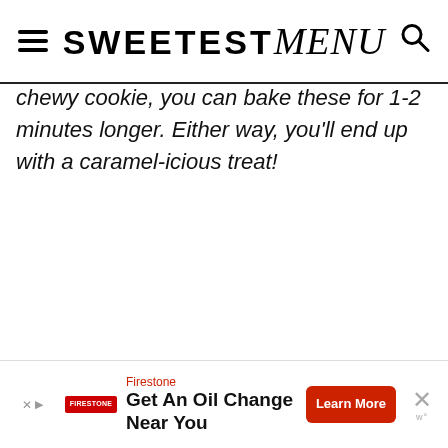SWEETEST menu
chewy cookie, you can bake these for 1-2 minutes longer. Either way, you'll end up with a caramel-icious treat!
[Figure (photo): A chocolate chip cookie broken in half showing melted chocolate caramel filling inside, stacked on another cookie, white background.]
Firestone Get An Oil Change Near You Learn More